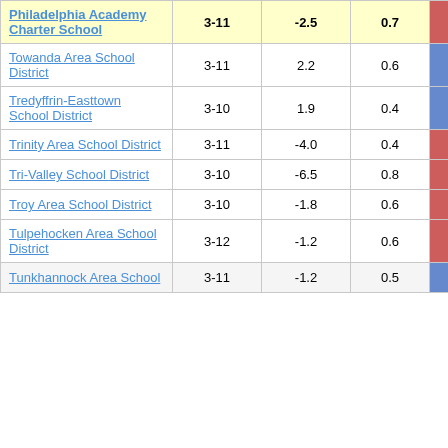| School/District | Grades | Col3 | Col4 | Score |
| --- | --- | --- | --- | --- |
| Philadelphia Academy Charter School | 3-11 | -2.5 | 0.7 | -3.55 |
| Towanda Area School District | 3-11 | 2.2 | 0.6 | 3.88 |
| Tredyffrin-Easttown School District | 3-10 | 1.9 | 0.4 | 4.37 |
| Trinity Area School District | 3-11 | -4.0 | 0.4 | -10.13 |
| Tri-Valley School District | 3-10 | -6.5 | 0.8 | -7.94 |
| Troy Area School District | 3-10 | -1.8 | 0.6 | -3.02 |
| Tulpehocken Area School District | 3-12 | -1.2 | 0.6 | -2.02 |
| Tunkhannock Area School | 3-11 | -1.2 | 0.5 | 2.30 |